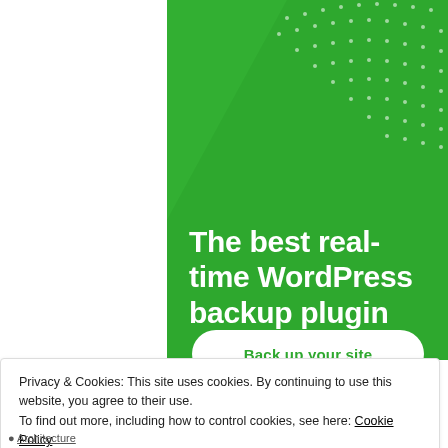[Figure (illustration): Green WordPress backup plugin advertisement banner with white dot pattern and diagonal stripe, featuring large white bold text reading 'The best real-time WordPress backup plugin' and a white rounded 'Back up your site' button]
Privacy & Cookies: This site uses cookies. By continuing to use this website, you agree to their use.
To find out more, including how to control cookies, see here: Cookie Policy
Architecture